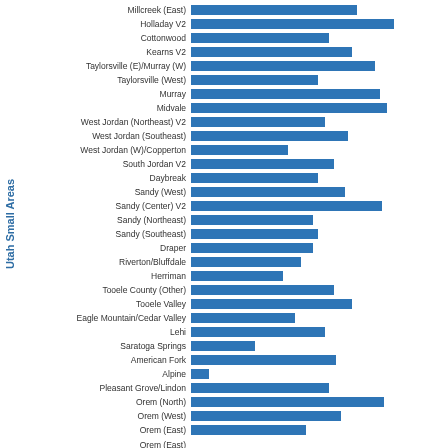[Figure (bar-chart): Utah Small Areas - Horizontal Bar Chart]